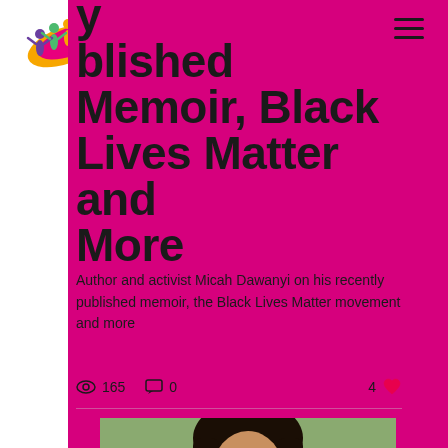[Figure (logo): Youth Positive Change logo with colorful figures and wing/leaf motif]
y
Published Memoir, Black Lives Matter and More
Author and activist Micah Dawanyi on his recently published memoir, the Black Lives Matter movement and more
165 views  0 comments  4 likes
[Figure (photo): Photo of Micah Dawanyi, a person with long dark hair, partial view]